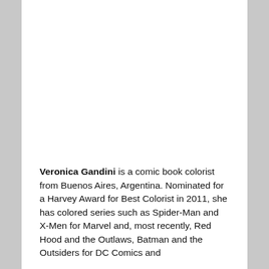Veronica Gandini is a comic book colorist from Buenos Aires, Argentina. Nominated for a Harvey Award for Best Colorist in 2011, she has colored series such as Spider-Man and X-Men for Marvel and, most recently, Red Hood and the Outlaws, Batman and the Outsiders for DC Comics and